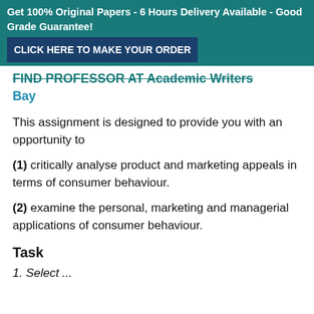Get 100% Original Papers - 6 Hours Delivery Available - Good Grade Guarantee! CLICK HERE TO MAKE YOUR ORDER
FIND PROFESSOR AT Academic Writers Bay
This assignment is designed to provide you with an opportunity to
(1) critically analyse product and marketing appeals in terms of consumer behaviour.
(2) examine the personal, marketing and managerial applications of consumer behaviour.
Task
1. Select ...